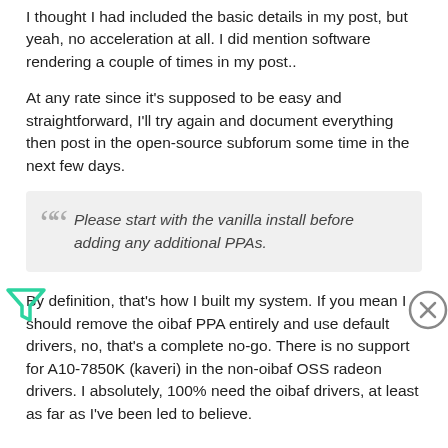I thought I had included the basic details in my post, but yeah, no acceleration at all. I did mention software rendering a couple of times in my post..
At any rate since it's supposed to be easy and straightforward, I'll try again and document everything then post in the open-source subforum some time in the next few days.
Please start with the vanilla install before adding any additional PPAs.
By definition, that's how I built my system. If you mean I should remove the oibaf PPA entirely and use default drivers, no, that's a complete no-go. There is no support for A10-7850K (kaveri) in the non-oibaf OSS radeon drivers. I absolutely, 100% need the oibaf drivers, at least as far as I've been led to believe.